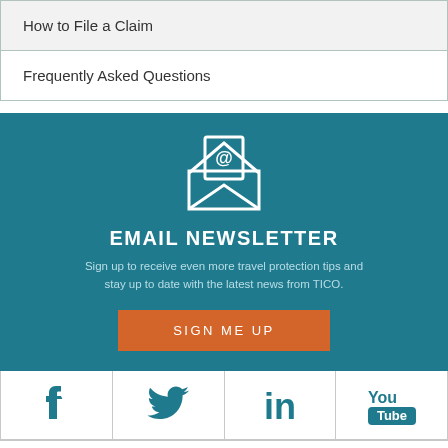How to File a Claim
Frequently Asked Questions
[Figure (infographic): Email newsletter signup section with envelope icon, title 'EMAIL NEWSLETTER', descriptive text, and orange 'SIGN ME UP' button on teal background]
[Figure (infographic): Social media icons row: Facebook, Twitter, LinkedIn, YouTube]